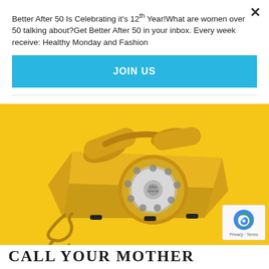Better After 50 Is Celebrating it's 12th Year!What are women over 50 talking about?Get Better After 50 in your inbox. Every week receive: Healthy Monday and Fashion
JOIN US
[Figure (photo): Yellow retro rotary dial telephone on a yellow background]
CALL YOUR MOTHER